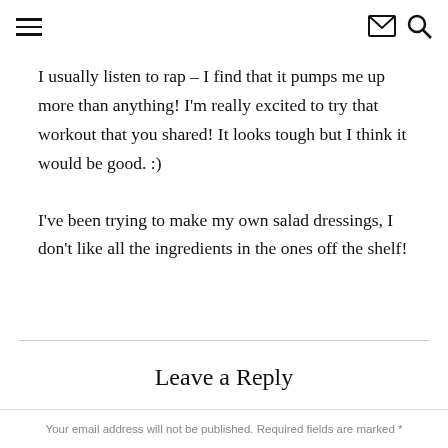≡ [menu icon] [email icon] [search icon]
I usually listen to rap – I find that it pumps me up more than anything! I'm really excited to try that workout that you shared! It looks tough but I think it would be good. :)
I've been trying to make my own salad dressings, I don't like all the ingredients in the ones off the shelf!
Leave a Reply
Your email address will not be published. Required fields are marked *